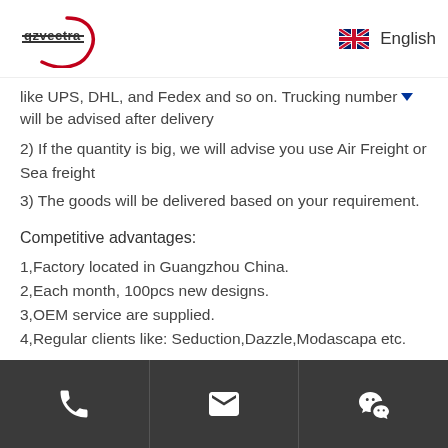gzvectra | English
like UPS, DHL, and Fedex and so on. Trucking number will be advised after delivery
2) If the quantity is big, we will advise you use Air Freight or Sea freight
3) The goods will be delivered based on your requirement.
Competitive advantages:
1,Factory located in Guangzhou China.
2,Each month, 100pcs new designs.
3,OEM service are supplied.
4,Regular clients like: Seduction,Dazzle,Modascapa etc.
Phone | Email | WeChat